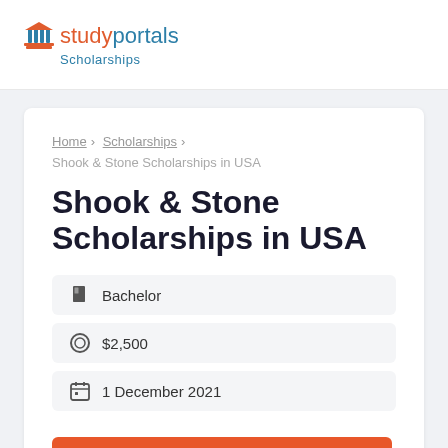studyportals Scholarships
Home › Scholarships › Shook & Stone Scholarships in USA
Shook & Stone Scholarships in USA
Bachelor
$2,500
1 December 2021
Visit Scholarship Website